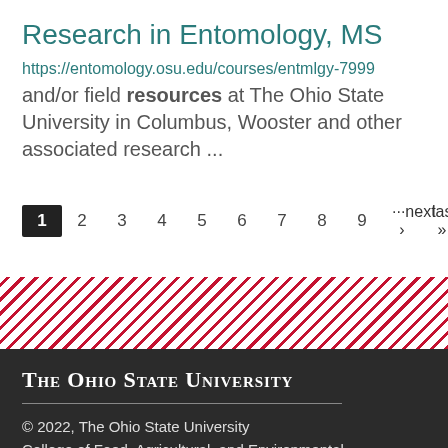Research in Entomology, MS
https://entomology.osu.edu/courses/entmlgy-7999
and/or field resources at The Ohio State University in Columbus, Wooster and other associated research ...
1  2  3  4  5  6  7  8  9  ···next ›  last »
[Figure (other): Diagonal red and white stripe decorative banner]
The Ohio State University
© 2022, The Ohio State University
College of Food, Agricultural, and Environmental